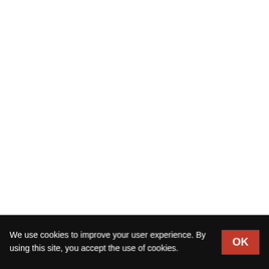goldsmiths, home. do-it-yourself
Roqueville Fleurs
20...
98...
C...
flowers, florists, home. do-it-you...
R and R International
2...
98...
C...
We use cookies to improve your user experience. By using this site, you accept the use of cookies.